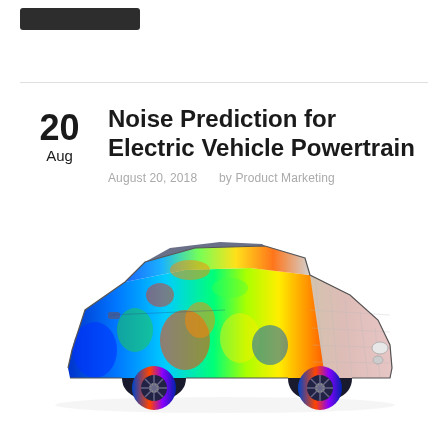Noise Prediction for Electric Vehicle Powertrain
August 20, 2018   by Product Marketing
[Figure (engineering-diagram): 3D FEA/CFD simulation rendering of a sedan automobile showing noise/vibration acoustic pressure distribution. The left side of the car body displays a colorful heat-map overlay (blue, green, yellow, orange, red) representing acoustic pressure or vibration magnitude. The right front portion of the car remains in grey mesh/surface rendering style.]